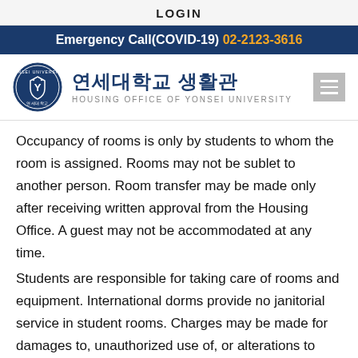LOGIN
Emergency Call(COVID-19) 02-2123-3616
[Figure (logo): Yonsei University seal/crest logo circle, blue and white]
연세대학교 생활관 HOUSING OFFICE OF YONSEI UNIVERSITY
Occupancy of rooms is only by students to whom the room is assigned. Rooms may not be sublet to another person. Room transfer may be made only after receiving written approval from the Housing Office. A guest may not be accommodated at any time.
Students are responsible for taking care of rooms and equipment. International dorms provide no janitorial service in student rooms. Charges may be made for damages to, unauthorized use of, or alterations to rooms, equipment or buildings and for special cleaning necessary due to improper